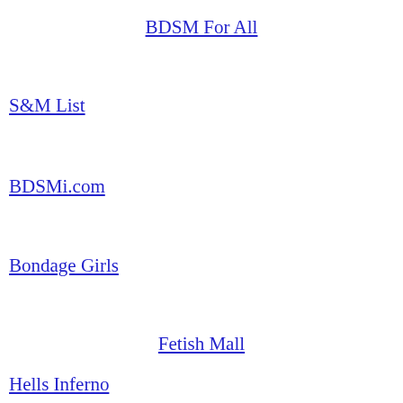BDSM For All
S&M List
BDSMi.com
Bondage Girls
Fetish Mall
Hells Inferno